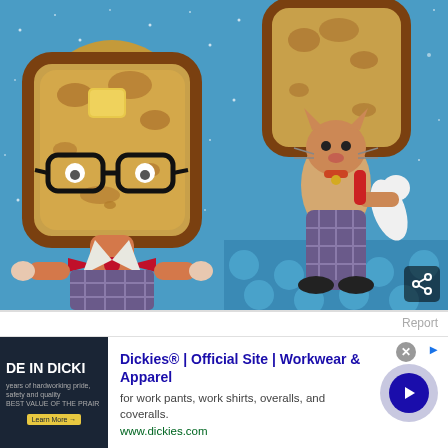[Figure (photo): Two-panel image on blue starry background. Left panel: a whimsical handmade doll/puppet with a toasted bread slice as its head (with butter pat and black-framed glasses), wearing a red bow tie and plaid overalls. Right panel: another doll figure with a cat face wearing plaid pants, holding a limp white cat figure, with a large toast slice balanced on its head.]
Report
[Figure (screenshot): Advertisement for Dickies. Shows ad image on left with dark background and text 'DE IN DICKIES'. Ad text: 'Dickies® | Official Site | Workwear & Apparel' with description 'for work pants, work shirts, overalls, and coveralls.' and URL 'www.dickies.com'. Close button (x) top right and info icon. Blue circular call-to-action arrow button on right.]